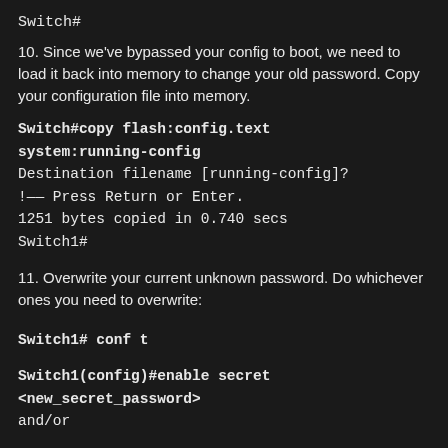Switch#
10. Since we've bypassed your config to boot, we need to load it back into memory to change your old password. Copy your configuration file into memory.
Switch#copy flash:config.text system:running-config
Destination filename [running-config]?
!--- Press Return or Enter.
1251 bytes copied in 0.740 secs
Switch1#
11. Overwrite your current unknown password. Do whichever ones you need to overwrite:
Switch1# conf t
Switch1(config)#enable secret <new_secret_password>
and/or